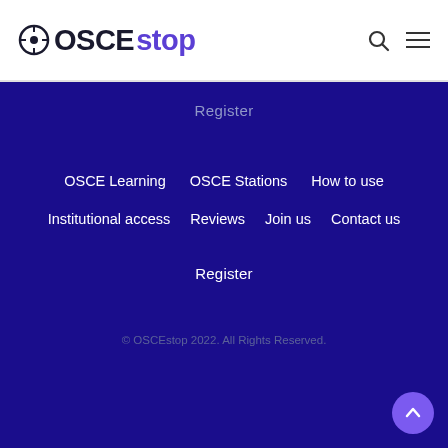OSCEstop
Register
OSCE Learning
OSCE Stations
How to use
Institutional access
Reviews
Join us
Contact us
Register
© OSCEstop 2022. All Rights Reserved.